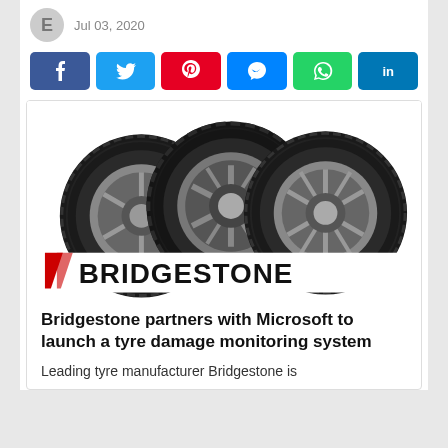Jul 03, 2020
[Figure (infographic): Social share buttons: Facebook (blue), Twitter (light blue), Pinterest (red), Messenger (blue), WhatsApp (green), LinkedIn (dark blue)]
[Figure (photo): Three Bridgestone car tyres arranged side by side with the Bridgestone logo below them]
Bridgestone partners with Microsoft to launch a tyre damage monitoring system
Leading tyre manufacturer Bridgestone is